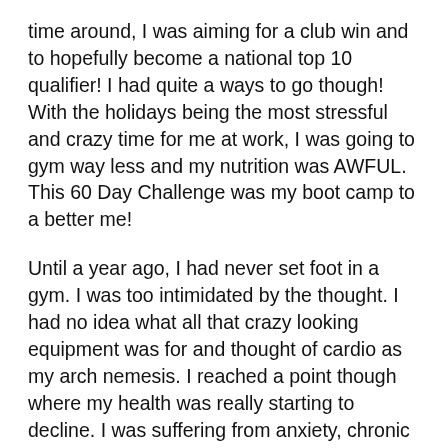time around, I was aiming for a club win and to hopefully become a national top 10 qualifier! I had quite a ways to go though! With the holidays being the most stressful and crazy time for me at work, I was going to gym way less and my nutrition was AWFUL. This 60 Day Challenge was my boot camp to a better me!
Until a year ago, I had never set foot in a gym. I was too intimidated by the thought. I had no idea what all that crazy looking equipment was for and thought of cardio as my arch nemesis. I reached a point though where my health was really starting to decline. I was suffering from anxiety, chronic migraines, lack of energy, etc and it all continued to get worse in severity and frequency. I fell into the same routine as so many others, overwhelmed with everything in life and ate what was convenient, not what was healthy. My eating